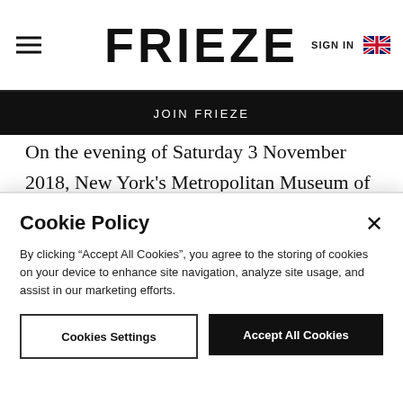FRIEZE
JOIN FRIEZE
On the evening of Saturday 3 November 2018, New York's Metropolitan Museum of Art became the site of a guerilla performance project, zoning in on the abusive behaviour of the male artists that line its walls. Artist Michelle Hartney's Performance/Call to Action (2018) subverted displays of artists such as
Cookie Policy
By clicking “Accept All Cookies”, you agree to the storing of cookies on your device to enhance site navigation, analyze site usage, and assist in our marketing efforts.
Cookies Settings | Accept All Cookies